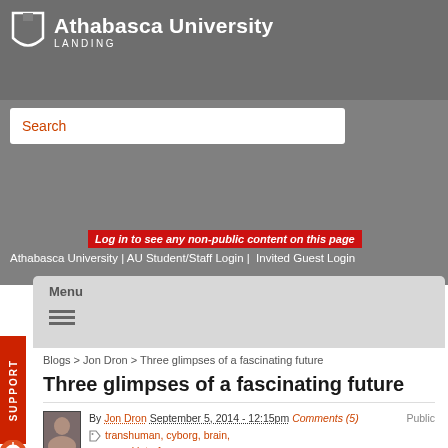[Figure (logo): Athabasca University Landing logo with shield icon]
Search
Log in to see any non-public content on this page
Athabasca University | AU Student/Staff Login | Invited Guest Login
Menu
Blogs > Jon Dron > Three glimpses of a fascinating future
Three glimpses of a fascinating future
Public
By Jon Dron September 5, 2014 - 12:15pm Comments (5)
transhuman, cyborg, brain, neural interface,